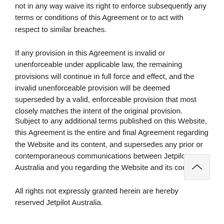not in any way waive its right to enforce subsequently any terms or conditions of this Agreement or to act with respect to similar breaches.
If any provision in this Agreement is invalid or unenforceable under applicable law, the remaining provisions will continue in full force and effect, and the invalid unenforceable provision will be deemed superseded by a valid, enforceable provision that most closely matches the intent of the original provision.
Subject to any additional terms published on this Website, this Agreement is the entire and final Agreement regarding the Website and its content, and supersedes any prior or contemporaneous communications between Jetpilot Australia and you regarding the Website and its contents.
All rights not expressly granted herein are hereby reserved Jetpilot Australia.